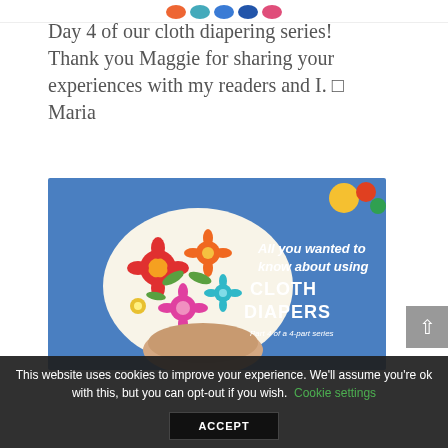[Figure (other): Row of social sharing icon buttons (red, light blue, blue, navy, pink circles) at top of page]
Day 4 of our cloth diapering series! Thank you Maggie for sharing your experiences with my readers and I. ☐ Maria
[Figure (photo): Photo of a floral-patterned cloth diaper being held in a hand against a blue background with toys. Text overlay reads: 'All you wanted to know about using CLOTH DIAPERS Part 4 of a 4-part series']
This website uses cookies to improve your experience. We'll assume you're ok with this, but you can opt-out if you wish. Cookie settings
ACCEPT